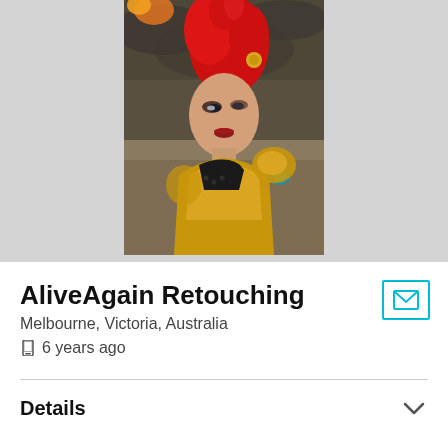[Figure (photo): Profile photo of a woman with bright red hair wearing gold armor and dark clothing, set against a dramatic fantasy/composite background with fire and dark clouds]
AliveAgain Retouching
Melbourne, Victoria, Australia
6 years ago
Details